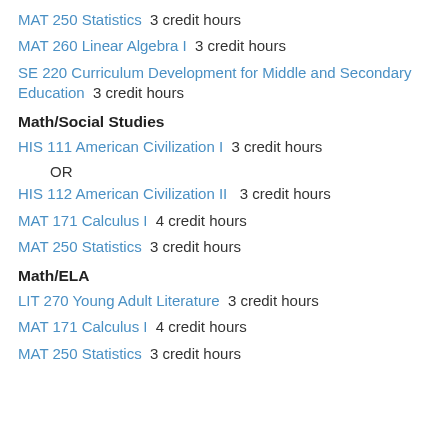MAT 250 Statistics  3 credit hours
MAT 260 Linear Algebra I  3 credit hours
SE 220 Curriculum Development for Middle and Secondary Education  3 credit hours
Math/Social Studies
HIS 111 American Civilization I  3 credit hours
OR
HIS 112 American Civilization II   3 credit hours
MAT 171 Calculus I  4 credit hours
MAT 250 Statistics  3 credit hours
Math/ELA
LIT 270 Young Adult Literature  3 credit hours
MAT 171 Calculus I  4 credit hours
MAT 250 Statistics  3 credit hours